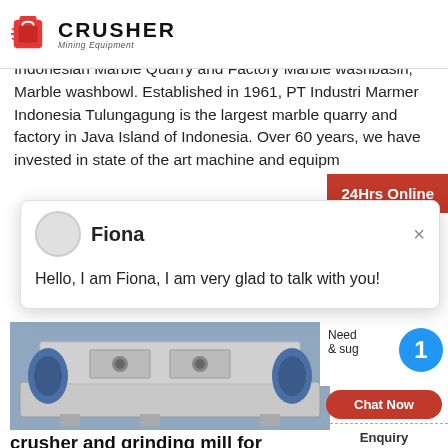[Figure (logo): Crusher Mining Equipment logo with red shopping bag icon and bold CRUSHER text]
Indonesian Marble Quarry and Factory Marble washbasin, Marble washbowl. Established in 1961, PT Industri Marmer Indonesia Tulungagung is the largest marble quarry and factory in Java Island of Indonesia. Over 60 years, we have invested in state of the art machine and equipment...
[Figure (screenshot): Chat popup with avatar, name Fiona, and message: Hello, I am Fiona, I am very glad to talk with you!]
[Figure (photo): Industrial crusher/grinding mill machine photo]
crusher and grinding mill for quarry plant in jember jawa ...
crusher and grinding mill for quarry plant in jalgaon maharashtra india. cema belt conveyor handbook in industrial construction for cement machine...